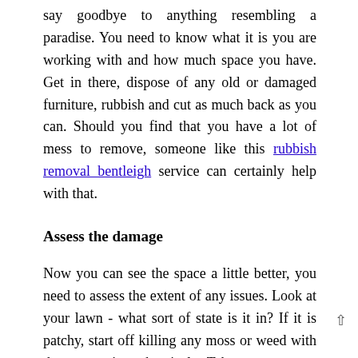say goodbye to anything resembling a paradise. You need to know what it is you are working with and how much space you have. Get in there, dispose of any old or damaged furniture, rubbish and cut as much back as you can. Should you find that you have a lot of mess to remove, someone like this rubbish removal bentleigh service can certainly help with that.
Assess the damage
Now you can see the space a little better, you need to assess the extent of any issues. Look at your lawn - what sort of state is it in? If it is patchy, start off killing any moss or weed with the appropriate chemicals. Take out as many visible weeds as possible from beds and borders with a cordless weed trimmer. Once you have done that, you can relay any lawn or use seeding to patch it up.